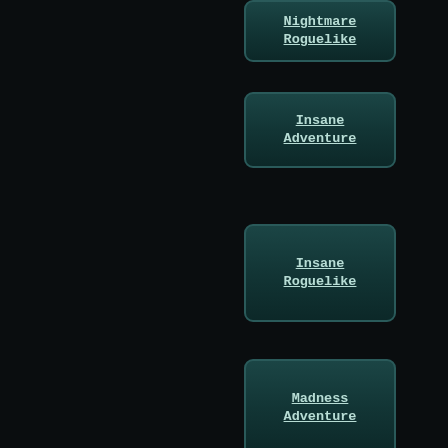Nightmare Roguelike
Insane Adventure
Insane Roguelike
Madness Adventure
Madness Roguelike
[Figure (screenshot): Game card panel showing a grey placeholder image and the title 'Orbituary']
[Figure (screenshot): Game card panel (partially visible) showing a grey placeholder image at the bottom of the page]